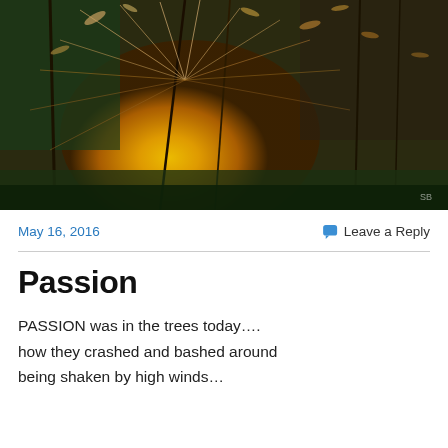[Figure (photo): Close-up photograph of a dandelion seed head with delicate wispy stems against a warm golden-orange sunset background, with green grass blades visible. A small watermark is visible in the bottom-right corner.]
May 16, 2016
Leave a Reply
Passion
PASSION was in the trees today….
how they crashed and bashed around
being shaken by high winds…